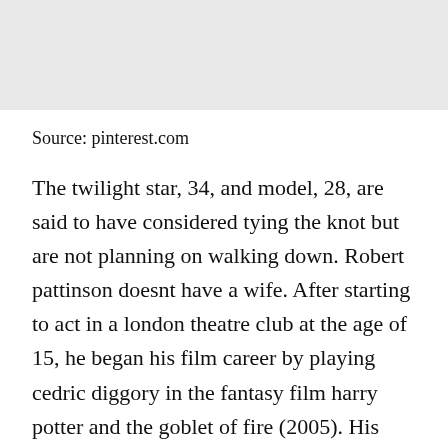[Figure (photo): Gray placeholder image area at top of page]
Source: pinterest.com
The twilight star, 34, and model, 28, are said to have considered tying the knot but are not planning on walking down. Robert pattinson doesnt have a wife. After starting to act in a london theatre club at the age of 15, he began his film career by playing cedric diggory in the fantasy film harry potter and the goblet of fire (2005). His parents named